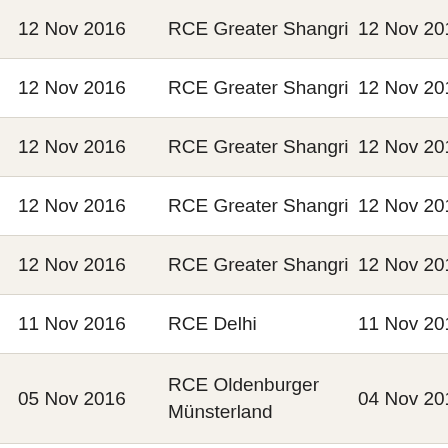| 12 Nov 2016 | RCE Greater Shangri-la | 12 Nov 2016 | Asia-Pacif… |
| 12 Nov 2016 | RCE Greater Shangri-la | 12 Nov 2016 | Asia-Pacif… |
| 12 Nov 2016 | RCE Greater Shangri-la | 12 Nov 2016 | Asia-Pacif… |
| 12 Nov 2016 | RCE Greater Shangri-la | 12 Nov 2016 | Asia-Pacif… |
| 12 Nov 2016 | RCE Greater Shangri-la | 12 Nov 2016 | Asia-Pacif… |
| 11 Nov 2016 | RCE Delhi | 11 Nov 2016 | Asia-Pacif… |
| 05 Nov 2016 | RCE Oldenburger Münsterland | 04 Nov 2016 | Global |
| 05 Nov 2016 | RCE Oldenburger Münsterland | 04 Nov 2016 | Europe |
| 04 Nov 2016 | RCE Oldenburger | 04 Nov 2016 | Global |